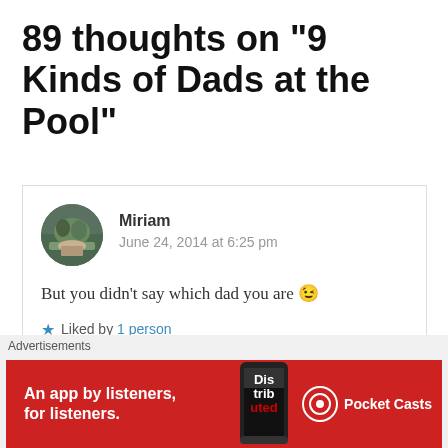89 thoughts on “9 Kinds of Dads at the Pool”
Miriam
June 24, 2014 at 6:25 pm
But you didn’t say which dad you are 😉
Liked by 1 person
Advertisements
[Figure (screenshot): Red advertisement banner for Pocket Casts app: 'An app by listeners, for listeners.' with phone image and Pocket Casts logo]